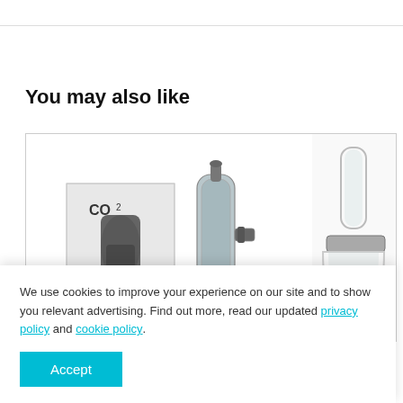You may also like
[Figure (photo): CO2 aquarium diffuser product photo showing box packaging and a standalone diffuser unit]
[Figure (photo): Partial view of a glass/transparent aquarium product on the right side]
We use cookies to improve your experience on our site and to show you relevant advertising. Find out more, read our updated privacy policy and cookie policy.
Accept